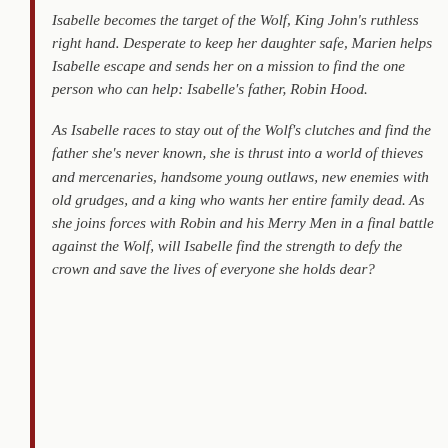Isabelle becomes the target of the Wolf, King John's ruthless right hand. Desperate to keep her daughter safe, Marien helps Isabelle escape and sends her on a mission to find the one person who can help: Isabelle's father, Robin Hood.
As Isabelle races to stay out of the Wolf's clutches and find the father she's never known, she is thrust into a world of thieves and mercenaries, handsome young outlaws, new enemies with old grudges, and a king who wants her entire family dead. As she joins forces with Robin and his Merry Men in a final battle against the Wolf, will Isabelle find the strength to defy the crown and save the lives of everyone she holds dear?